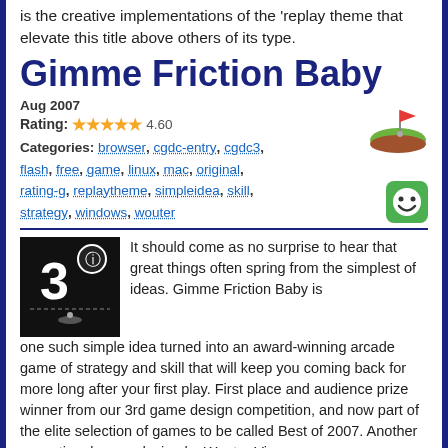is the creative implementations of the 'replay theme that elevate this title above others of its type.
Gimme Friction Baby
Aug 2007
Rating: ★★★★½ 4.60
Categories: browser, cgdc-entry, cgdc3, flash, free, game, linux, mac, original, rating-g, replaytheme, simpleidea, skill, strategy, windows, wouter
It should come as no surprise to hear that great things often spring from the simplest of ideas. Gimme Friction Baby is one such simple idea turned into an award-winning arcade game of strategy and skill that will keep you coming back for more long after your first play. First place and audience prize winner from our 3rd game design competition, and now part of the elite selection of games to be called Best of 2007. Another exceptional game design by Wouter Visser.